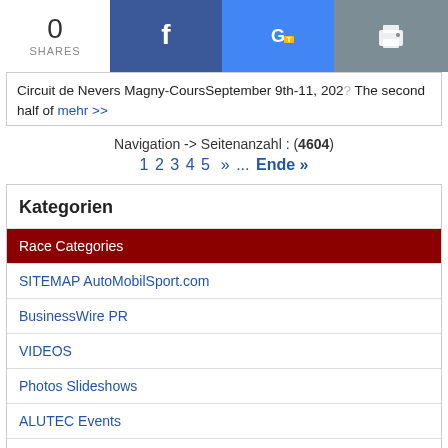0 SHARES
Circuit de Nevers Magny-Cours September 9th-11, 202? The second half of mehr >>
Navigation -> Seitenanzahl : (4604)
1 2 3 4 5 » ... Ende »
Kategorien
Race Categories
SITEMAP AutoMobilSport.com
BusinessWire PR
VIDEOS
Photos Slideshows
ALUTEC Events
UNIWHEELS News
Race Calendars
Luxembourg Championship
Rallye de Luxembourg